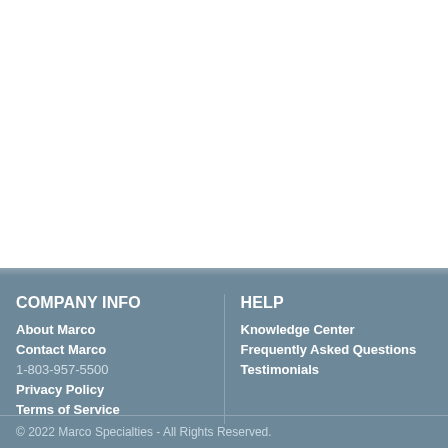Leaf switch Stern
#180-5231-00
Leaf switch Stern
Out Of Stock  $9.99
1... 8 9 10 11 12 13 14 15 1
COMPANY INFO
About Marco
Contact Marco
1-803-957-5500
Privacy Policy
Terms of Service
HELP
Knowledge Center
Frequently Asked Questions
Testimonials
© 2022 Marco Specialties - All Rights Reserved.